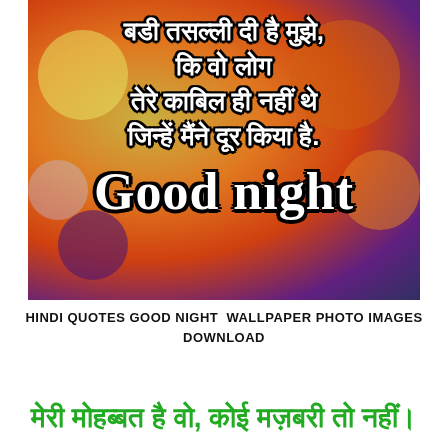[Figure (photo): Bokeh blurred background image with warm orange, yellow, purple and blue circular light spots. White bold Hindi text reads: बडी तसल्ली दी है मुझे, कि वो लोग तेरे काबिल ही नहीं थे जिन्हें मैंने दूर किया है. Below that, large white serif bold text reads: Good night]
HINDI QUOTES GOOD NIGHT  WALLPAPER PHOTO IMAGES DOWNLOAD
मेरी मोहब्बत है वो, कोई मज़बरी तो नहीं।